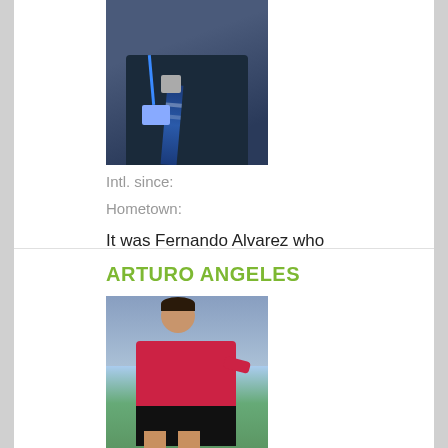[Figure (photo): Photo of a man in a dark suit with a blue lanyard and badge]
Intl. since:
Hometown:
It was Fernando Alvarez who wrote a personal letter to then FIFA President Joao
ARTURO ANGELES
[Figure (photo): Photo of a referee in a red shirt and black shorts on a football field]
Intl. since:    1989